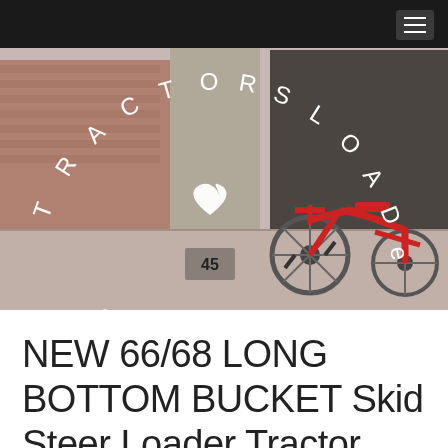[Figure (photo): Photo of a red children's tricycle parked on a sidewalk next to a brick wall, with the curved text 'TRACTORS LOADER RS BKD' arranged in a circular/arc pattern overlaid in white, along with a white heart symbol in the center.]
NEW 66/68 LONG BOTTOM BUCKET Skid Steer Loader Tractor